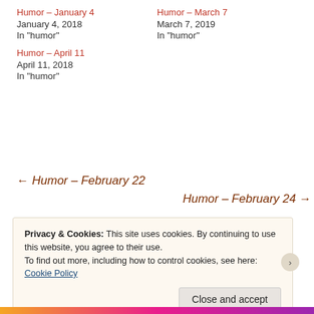Humor – January 4
January 4, 2018
In "humor"
Humor – March 7
March 7, 2019
In "humor"
Humor – April 11
April 11, 2018
In "humor"
← Humor – February 22
Humor – February 24 →
Privacy & Cookies: This site uses cookies. By continuing to use this website, you agree to their use.
To find out more, including how to control cookies, see here: Cookie Policy
Close and accept